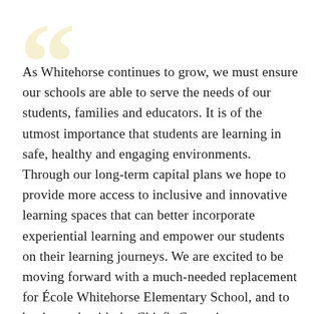As Whitehorse continues to grow, we must ensure our schools are able to serve the needs of our students, families and educators. It is of the utmost importance that students are learning in safe, healthy and engaging environments. Through our long-term capital plans we hope to provide more access to inclusive and innovative learning spaces that can better incorporate experiential learning and empower our students on their learning journeys. We are excited to be moving forward with a much-needed replacement for École Whitehorse Elementary School, and to begin work with the Chief's Committee on Education and the Yukon First Nation School Board to plan for the future.